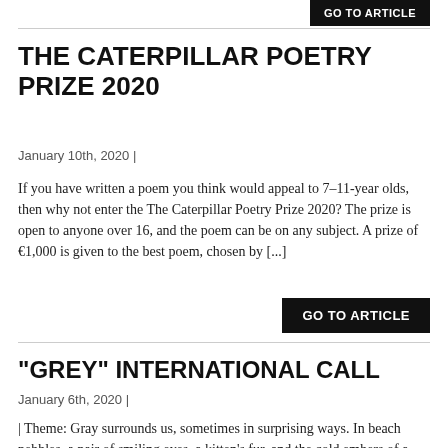[Figure (screenshot): GO TO ARTICLE button (partially visible at top right)]
THE CATERPILLAR POETRY PRIZE 2020
January 10th, 2020 |
If you have written a poem you think would appeal to 7–11-year olds, then why not enter the The Caterpillar Poetry Prize 2020? The prize is open to anyone over 16, and the poem can be on any subject. A prize of €1,000 is given to the best poem, chosen by [...]
[Figure (screenshot): GO TO ARTICLE button (black background, white text)]
“GREY” INTERNATIONAL CALL
January 6th, 2020 |
| Theme: Gray surrounds us, sometimes in surprising ways. In beach pebbles, a pair of smiling eyes, a kitten’s fur, and the cold embers of a fireplace. This neutral colour is cool,